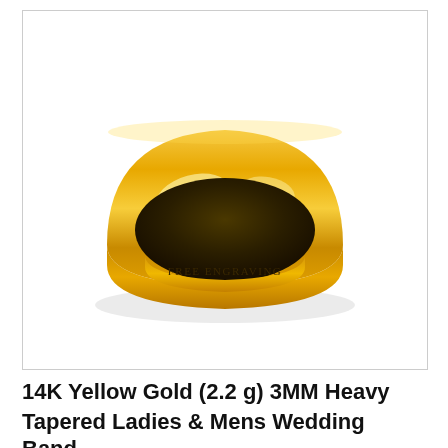[Figure (photo): A 14K yellow gold 3MM wedding band ring shown at an angle, displaying a polished domed surface with light reflections. The inner band reads 'FREE ENGRAVING' in small dark letters.]
14K Yellow Gold (2.2 g) 3MM Heavy Tapered Ladies & Mens Wedding Band...